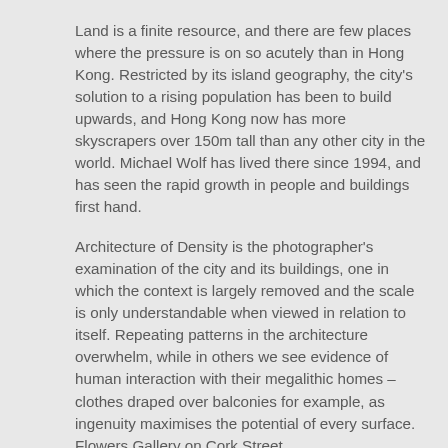Land is a finite resource, and there are few places where the pressure is on so acutely than in Hong Kong. Restricted by its island geography, the city's solution to a rising population has been to build upwards, and Hong Kong now has more skyscrapers over 150m tall than any other city in the world. Michael Wolf has lived there since 1994, and has seen the rapid growth in people and buildings first hand.
Architecture of Density is the photographer's examination of the city and its buildings, one in which the context is largely removed and the scale is only understandable when viewed in relation to itself. Repeating patterns in the architecture overwhelm, while in others we see evidence of human interaction with their megalithic homes – clothes draped over balconies for example, as ingenuity maximises the potential of every surface. Flowers Gallery on Cork Street,